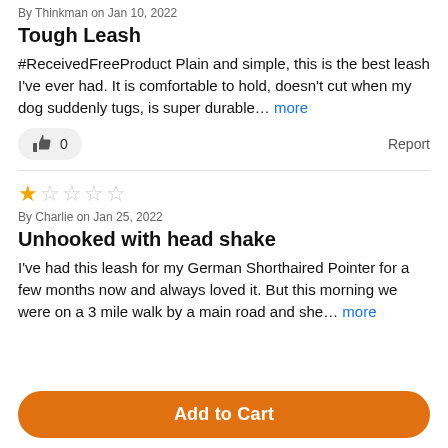By Thinkman on Jan 10, 2022
Tough Leash
#ReceivedFreeProduct Plain and simple, this is the best leash I've ever had. It is comfortable to hold, doesn't cut when my dog suddenly tugs, is super durable... more
0   Report
★☆☆☆☆
By Charlie on Jan 25, 2022
Unhooked with head shake
I've had this leash for my German Shorthaired Pointer for a few months now and always loved it. But this morning we were on a 3 mile walk by a main road and she... more
Add to Cart